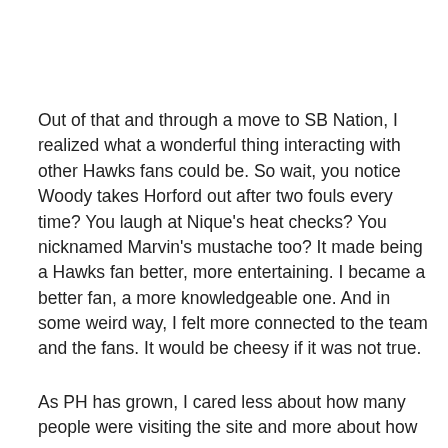Out of that and through a move to SB Nation, I realized what a wonderful thing interacting with other Hawks fans could be. So wait, you notice Woody takes Horford out after two fouls every time? You laugh at Nique's heat checks? You nicknamed Marvin's mustache too? It made being a Hawks fan better, more entertaining. I became a better fan, a more knowledgeable one. And in some weird way, I felt more connected to the team and the fans. It would be cheesy if it was not true.
As PH has grown, I cared less about how many people were visiting the site and more about how many were